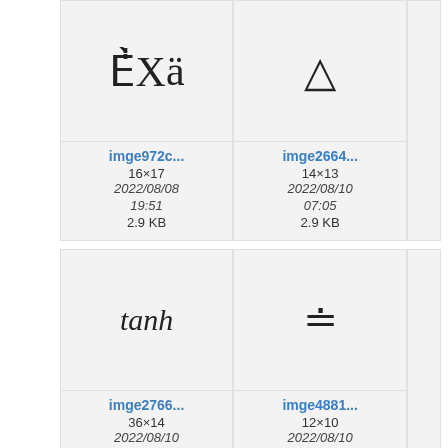[Figure (screenshot): File browser grid showing math symbol image thumbnails. Row 1: cell with X-double-dot symbol (imge972c..., 16x17, 2022/08/08 19:51, 2.9 KB), cell with triangle symbol (imge2664..., 14x13, 2022/08/10 07:05, 2.9 KB), partial third cell. Row 2: cell with 'tanh' text (imge2766..., 36x14, 2022/08/10 18:14, 3 KB), cell with approximately-equals symbol (imge4881..., 12x10, 2022/08/10 07:01, 2.8 KB), partial third cell. Partial row 3 visible at bottom.]